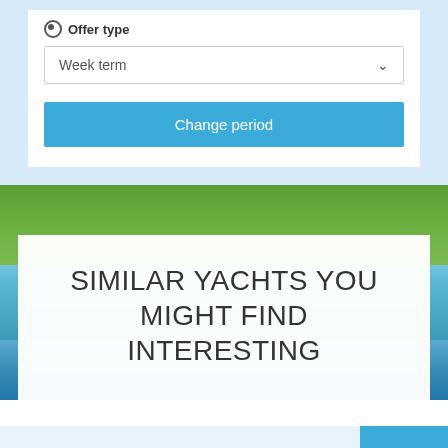Offer type
Week term
Change period
[Figure (photo): Background photo of a green island with trees and blue sea water]
SIMILAR YACHTS YOU MIGHT FIND INTERESTING